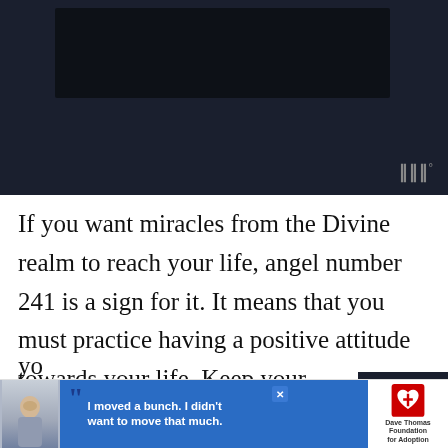[Figure (screenshot): Dark video player area with a dark navy/black background and a smaller dark inner rectangle, with a watermark icon at bottom right]
If you want miracles from the Divine realm to reach your life, angel number 241 is a sign for it. It means that you must practice having a positive attitude towards your life. Keep your expectations high and keep on offering yourself positive affirmations. And, as a result,
[Figure (screenshot): Advertisement banner: photo of a boy, quote 'I moved a bunch. I didn't want to move that much.' with Dave Thomas Foundation for Adoption logo, and a close X button]